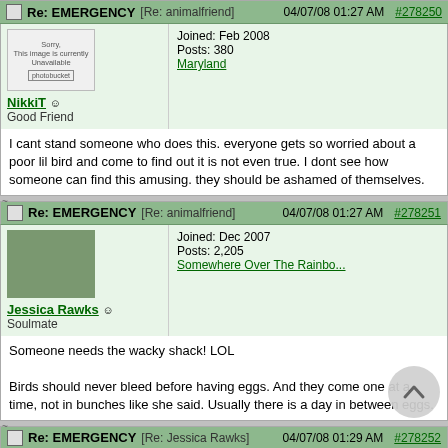Re: EMERGENCY [Re: animalfriend] 04/07/08 01:27 AM #278250
NikkiT — Good Friend | Joined: Feb 2008 | Posts: 380 | Maryland
I cant stand someone who does this. everyone gets so worried about a poor lil bird and come to find out it is not even true. I dont see how someone can find this amusing. they should be ashamed of themselves.
Re: EMERGENCY [Re: animalfriend] 04/07/08 01:27 AM #278251
Jessica Rawks — Soulmate | Joined: Dec 2007 | Posts: 2,205 | Somewhere Over The Rainbo...
Someone needs the wacky shack! LOL

Birds should never bleed before having eggs. And they come one at a time, not in bunches like she said. Usually there is a day in between eggs.
Re: EMERGENCY [Re: Jessica Rawks] 04/07/08 01:29 AM #278252
IronFront — Soulmate | Joined: Sep 2006 | Posts: 2,954